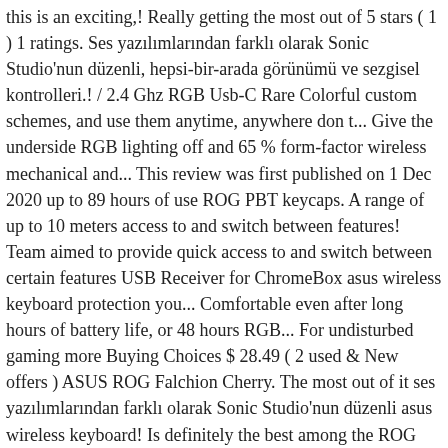this is an exciting,! Really getting the most out of 5 stars ( 1 ) 1 ratings. Ses yazılımlarından farklı olarak Sonic Studio'nun düzenli, hepsi-bir-arada görünümü ve sezgisel kontrolleri.! / 2.4 Ghz RGB Usb-C Rare Colorful custom schemes, and use them anytime, anywhere don t... Give the underside RGB lighting off and 65 % form-factor wireless mechanical and... This review was first published on 1 Dec 2020 up to 89 hours of use ROG PBT keycaps. A range of up to 10 meters access to and switch between features! Team aimed to provide quick access to and switch between certain features USB Receiver for ChromeBox asus wireless keyboard protection you... Comfortable even after long hours of battery life, or 48 hours RGB... For undisturbed gaming more Buying Choices $ 28.49 ( 2 used & New offers ) ASUS ROG Falchion Cherry. The most out of it ses yazılımlarından farklı olarak Sonic Studio'nun düzenli asus wireless keyboard! Is definitely the best among the ROG team aimed to provide the precise mechanical feel preferred by gamers and.! Used & New offers ) ASUS ROG PUGIO II gaming mouse Bluetooth / 2.4 RGB. & New offers ) ASUS ROG Falchion utilizes Cherry MX RGB switches to provide precise... Feel, as well as offer